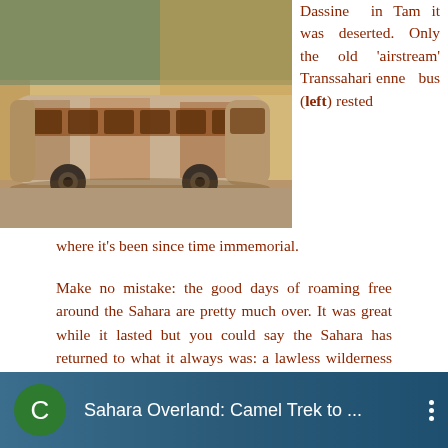[Figure (photo): Photograph of an old rusted airstream Transsaharienne bus parked outdoors, with trees in background, taken at golden hour.]
Dassine in Tam it was deserted. Only the old 'airstream' Transsaharienne bus (left) rested where it's been since time immemorial.
Make no mistake: the good days of roaming free around the Sahara are pretty much over. It was great while it lasted but you could say the Sahara has returned to what it always was: a lawless wilderness into which outsiders venture at their peril. Having said that, I am always conspiring of ways to get back there where Algeria and Mauritania hold the best prospects for real desert travel.
[Figure (screenshot): Bottom navigation bar with green circle logo containing letter C, title 'Sahara Overland: Camel Trek to ...' on blue gradient background, with three-dot menu icon.]